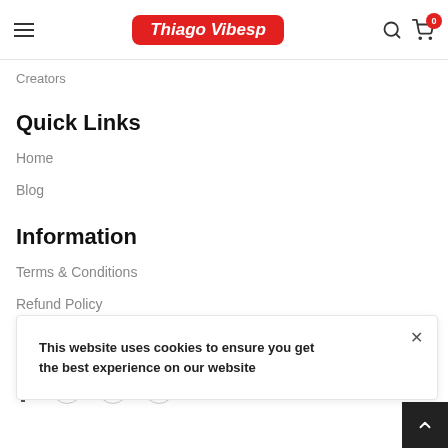Thiago Vibesp
Creators
Quick Links
Home
Blog
Information
Terms & Conditions
Refund Policy
Follow Us
This website uses cookies to ensure you get the best experience on our website